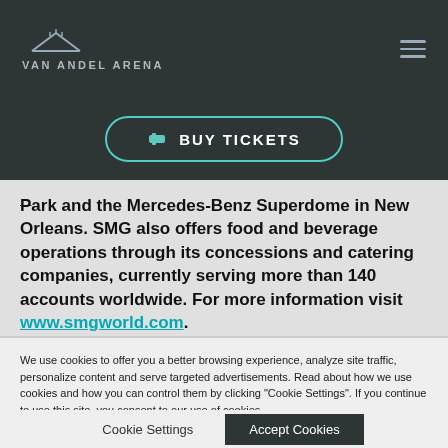VAN ANDEL ARENA
[Figure (other): BUY TICKETS button with ticket icon, teal border on dark background]
Park and the Mercedes-Benz Superdome in New Orleans. SMG also offers food and beverage operations through its concessions and catering companies, currently serving more than 140 accounts worldwide. For more information visit www.smgworld.com.
###
We use cookies to offer you a better browsing experience, analyze site traffic, personalize content and serve targeted advertisements. Read about how we use cookies and how you can control them by clicking "Cookie Settings". If you continue to use this site, you consent to our use of cookies.
Cookie Settings | Accept Cookies